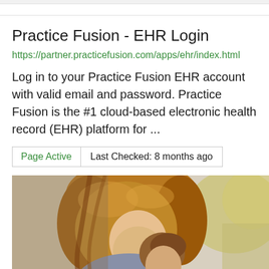Practice Fusion - EHR Login
https://partner.practicefusion.com/apps/ehr/index.html
Log in to your Practice Fusion EHR account with valid email and password. Practice Fusion is the #1 cloud-based electronic health record (EHR) platform for ...
Page Active	Last Checked: 8 months ago
[Figure (photo): Photo of a woman with auburn hair hugging a small child, both looking down, with blurred outdoor background]